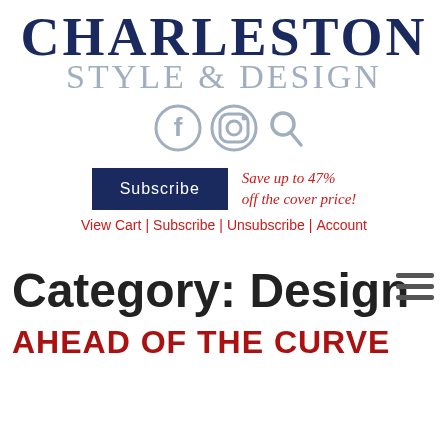[Figure (logo): Charleston Style & Design magazine logo with CHARLESTON in dark navy bold serif and STYLE & DESIGN in gray serif below]
[Figure (infographic): Social media icons: Facebook circle, Instagram circle, Search magnifier — all in gray]
[Figure (infographic): Subscribe button (dark navy rectangle) with red italic text 'Save up to 47% off the cover price!']
View Cart | Subscribe | Unsubscribe | Account
[Figure (infographic): Hamburger menu icon (three horizontal lines) in dark gray, top right]
Category: Design
AHEAD OF THE CURVE